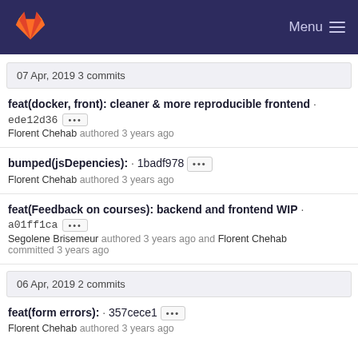GitLab Menu
07 Apr, 2019 3 commits
feat(docker, front): cleaner & more reproducible frontend · ede12d36 [...] Florent Chehab authored 3 years ago
bumped(jsDepencies): · 1badf978 [...] Florent Chehab authored 3 years ago
feat(Feedback on courses): backend and frontend WIP · a01ff1ca [...] Segolene Brisemeur authored 3 years ago and Florent Chehab committed 3 years ago
06 Apr, 2019 2 commits
feat(form errors): · 357cece1 [...] Florent Chehab authored 3 years ago